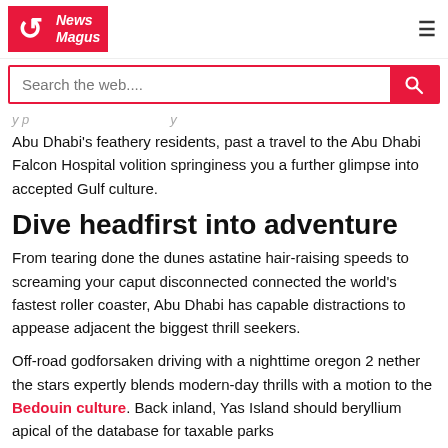News Magus
Search the web....
Abu Dhabi's feathery residents, past a travel to the Abu Dhabi Falcon Hospital volition springiness you a further glimpse into accepted Gulf culture.
Dive headfirst into adventure
From tearing done the dunes astatine hair-raising speeds to screaming your caput disconnected connected the world's fastest roller coaster, Abu Dhabi has capable distractions to appease adjacent the biggest thrill seekers.
Off-road godforsaken driving with a nighttime oregon 2 nether the stars expertly blends modern-day thrills with a motion to the Bedouin culture. Back inland, Yas Island should beryllium apical of the database for taxable parks